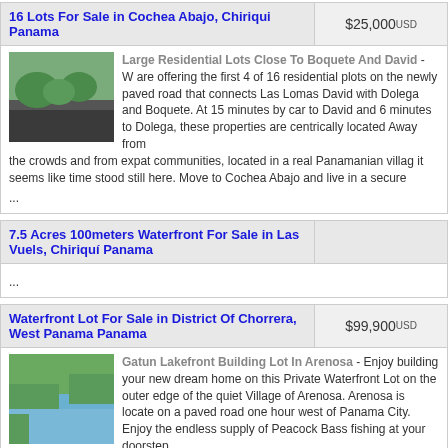16 Lots For Sale in Cochea Abajo, Chiriqui Panama
Large Residential Lots Close To Boquete And David - W are offering the first 4 of 16 residential plots on the newly paved road that connects Las Lomas David with Dolega and Boquete. At 15 minutes by car to David and 6 minutes to Dolega, these properties are centrically located Away from the crowds and from expat communities, located in a real Panamanian villag it seems like time stood still here. Move to Cochea Abajo and live in a secure ...
7.5 Acres 100meters Waterfront For Sale in Las Vuels, Chiriquí Panama
...
Waterfront Lot For Sale in District Of Chorrera, West Panama Panama
Gatun Lakefront Building Lot In Arenosa - Enjoy building your new dream home on this Private Waterfront Lot on the outer edge of the quiet Village of Arenosa. Arenosa is locate on a paved road one hour west of Panama City. Enjoy the endless supply of Peacock Bass fishing at your doorstep. Please see attached photos and Lot location and feel free to call me directly at my gmail ...